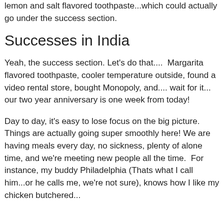lemon and salt flavored toothpaste...which could actually go under the success section.
Successes in India
Yeah, the success section. Let's do that....  Margarita flavored toothpaste, cooler temperature outside, found a video rental store, bought Monopoly, and.... wait for it... our two year anniversary is one week from today!
Day to day, it's easy to lose focus on the big picture. Things are actually going super smoothly here! We are having meals every day, no sickness, plenty of alone time, and we're meeting new people all the time.  For instance, my buddy Philadelphia (Thats what I call him...or he calls me, we're not sure), knows how I like my chicken butchered...